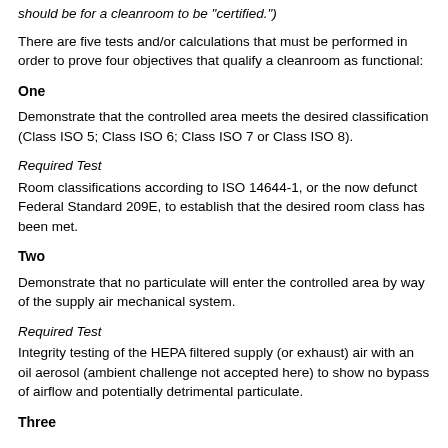should be for a cleanroom to be "certified.")
There are five tests and/or calculations that must be performed in order to prove four objectives that qualify a cleanroom as functional:
One
Demonstrate that the controlled area meets the desired classification (Class ISO 5; Class ISO 6; Class ISO 7 or Class ISO 8).
Required Test
Room classifications according to ISO 14644-1, or the now defunct Federal Standard 209E, to establish that the desired room class has been met.
Two
Demonstrate that no particulate will enter the controlled area by way of the supply air mechanical system.
Required Test
Integrity testing of the HEPA filtered supply (or exhaust) air with an oil aerosol (ambient challenge not accepted here) to show no bypass of airflow and potentially detrimental particulate.
Three